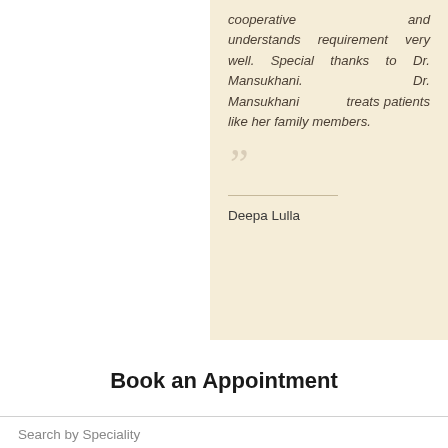cooperative and understands requirement very well. Special thanks to Dr. Mansukhani. Dr. Mansukhani treats patients like her family members.
Deepa Lulla
Book an Appointment
Search by Speciality